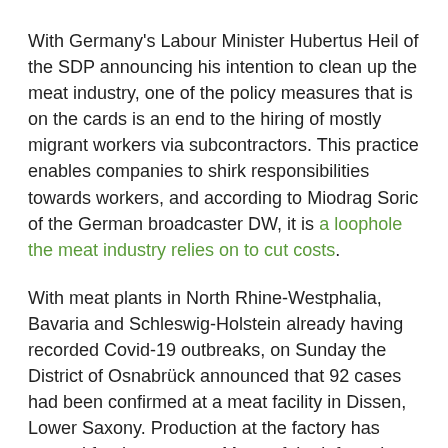With Germany's Labour Minister Hubertus Heil of the SDP announcing his intention to clean up the meat industry, one of the policy measures that is on the cards is an end to the hiring of mostly migrant workers via subcontractors. This practice enables companies to shirk responsibilities towards workers, and according to Miodrag Soric of the German broadcaster DW, it is a loophole the meat industry relies on to cut costs.
With meat plants in North Rhine-Westphalia, Bavaria and Schleswig-Holstein already having recorded Covid-19 outbreaks, on Sunday the District of Osnabrück announced that 92 cases had been confirmed at a meat facility in Dissen, Lower Saxony. Production at the factory has ceased for the moment. Many of the infected personnel are employed under sub-contracts, with some living together in shared accommodation, according to the Süddeutsche Zeitung
The Süddeutsche Zeitung also reported that a lack of compliance with Covid-19 hygiene regulations and the...